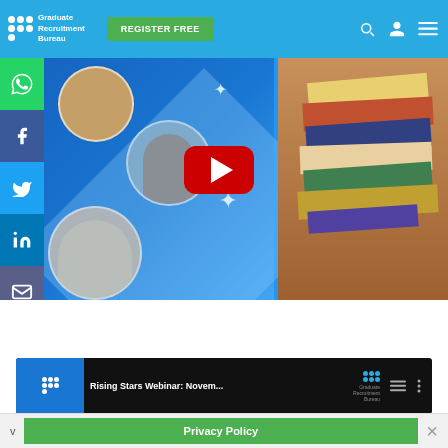[Figure (screenshot): Graduate Recruitment Bureau website header with logo, REGISTER FREE green button, and search/user/menu icons on blue background]
[Figure (screenshot): Main banner showing social media sidebar (WhatsApp, Facebook, Twitter, LinkedIn, Email), circular profile photos of graduates, YouTube play button, diagonal 'MEET OUR RISING STARS' text banner, and a person holding books on right]
[Figure (screenshot): Bottom video card showing 'Rising Stars Webinar: Novem...' with Graduate Recruitment Bureau logo and hamburger/dots icons]
Privacy Policy